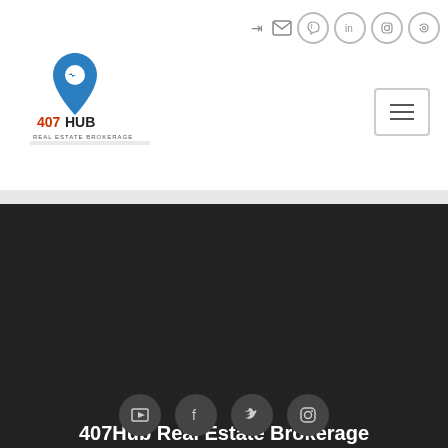[Figure (logo): 407Hub Real Estate Brokerage logo with blue location pin and red/dark text]
407Hub Real Estate Brokerage - navigation header with social icons and hamburger menu
407Hub Real Estate Brokerage
3226 Hillsdale Ln
Kissimmee, FL 34741
773-793-2792
Should you require assistance in navigating our website or searching for real estate, please contact our offices at 773-793-2792.